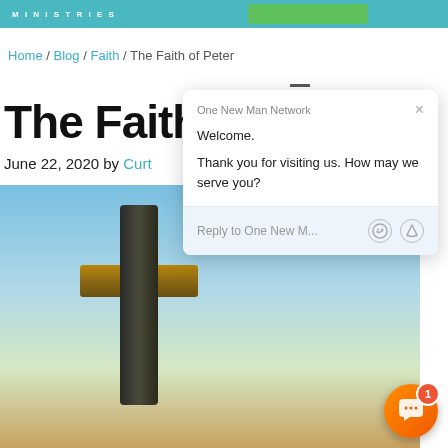MINISTRIES
Home / Blog / Faith / The Faith of Peter
The Faith
June 22, 2020 by Curt
[Figure (photo): A stone cross against a blue sky background, with a person silhouette at the base. A circular avatar photo of a person is overlaid.]
[Figure (screenshot): Chat popup overlay from One New Man Network. Header: 'One New Man Network' with X close button. Body: 'Welcome.' and 'Thank you for visiting us. How may we serve you?' Input field: 'Reply to One New M...' with emoji and attachment icons. Orange chat launcher button with badge '1' in bottom right.]